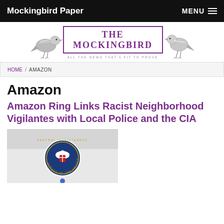Mockingbird Paper | MENU
[Figure (logo): The Mockingbird newspaper masthead with two mockingbird illustrations on either side of a purple-bordered box reading 'THE MOCKINGBIRD' and subtitle 'ALL THE NEWS THAT'S FIT TO PROVE']
HOME / AMAZON
Amazon
Amazon Ring Links Racist Neighborhood Vigilantes with Local Police and the CIA
[Figure (photo): Photograph showing a CIA (Central Intelligence Agency) badge/sticker on a light background, with a small blue dot visible below it]